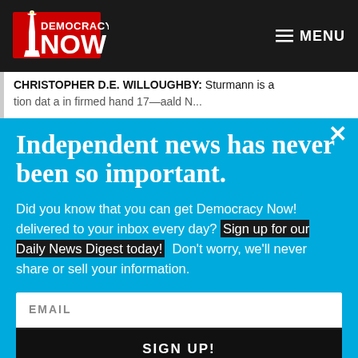[Figure (logo): Democracy Now! logo — red torch/Statue of Liberty icon with red and white text on dark background]
≡ MENU
CHRISTOPHER D.E. WILLOUGHBY: Sturmann is a
Independent news has never been so important.
Did you know that you can get Democracy Now! delivered to your inbox every day? Sign up for our Daily News Digest today! Don't worry, we'll never share or sell your information.
EMAIL
SIGN UP!